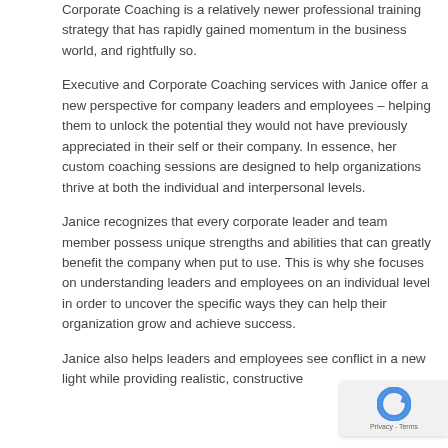Corporate Coaching is a relatively newer professional training strategy that has rapidly gained momentum in the business world, and rightfully so.
Executive and Corporate Coaching services with Janice offer a new perspective for company leaders and employees – helping them to unlock the potential they would not have previously appreciated in their self or their company. In essence, her custom coaching sessions are designed to help organizations thrive at both the individual and interpersonal levels.
Janice recognizes that every corporate leader and team member possess unique strengths and abilities that can greatly benefit the company when put to use. This is why she focuses on understanding leaders and employees on an individual level in order to uncover the specific ways they can help their organization grow and achieve success.
Janice also helps leaders and employees see conflict in a new light while providing realistic, constructive